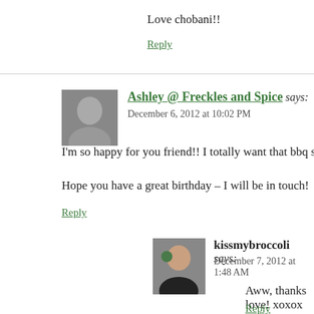Love chobani!!
Reply
Ashley @ Freckles and Spice says:
December 6, 2012 at 10:02 PM
I'm so happy for you friend!! I totally want that bbq sa
Hope you have a great birthday – I will be in touch!
Reply
[Figure (photo): Avatar photo of Ashley @ Freckles and Spice]
kissmybroccoli says:
December 7, 2012 at 1:48 AM
Aww, thanks love! xoxox
Reply
[Figure (photo): Avatar photo of kissmybroccoli]